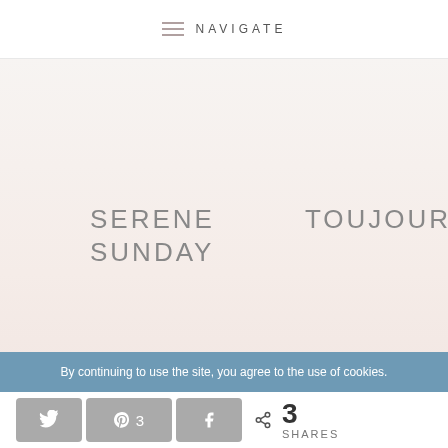NAVIGATE
SERENE SUNDAY   TOUJOURS
HI, I'M KATHY
DREAMER
By continuing to use the site, you agree to the use of cookies.
3 SHARES